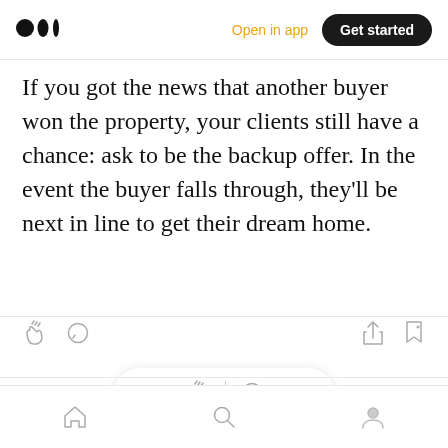Medium logo | Open in app | Get started
If you got the news that another buyer won the property, your clients still have a chance: ask to be the backup offer. In the event the buyer falls through, they'll be next in line to get their dream home.
[Figure (screenshot): Article action icons: clap, comment on left; share, bookmark-plus on right]
[Figure (screenshot): Floating pill with clap and comment icons]
Bottom navigation bar with home, search, and profile icons